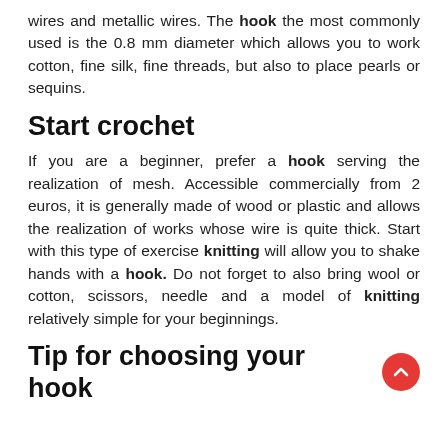wires and metallic wires. The hook the most commonly used is the 0.8 mm diameter which allows you to work cotton, fine silk, fine threads, but also to place pearls or sequins.
Start crochet
If you are a beginner, prefer a hook serving the realization of mesh. Accessible commercially from 2 euros, it is generally made of wood or plastic and allows the realization of works whose wire is quite thick. Start with this type of exercise knitting will allow you to shake hands with a hook. Do not forget to also bring wool or cotton, scissors, needle and a model of knitting relatively simple for your beginnings.
Tip for choosing your hook